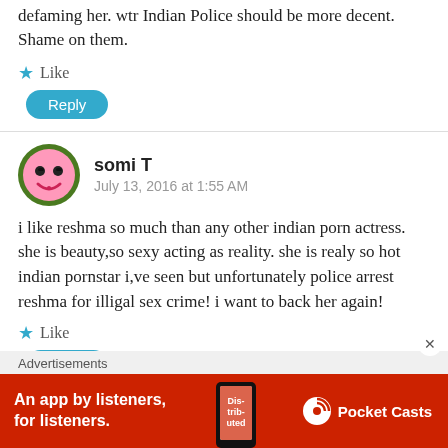defaming her. wtr Indian Police should be more decent. Shame on them.
★ Like
Reply
somi T
July 13, 2016 at 1:55 AM
i like reshma so much than any other indian porn actress. she is beauty,so sexy acting as reality. she is realy so hot indian pornstar i,ve seen but unfortunately police arrest reshma for illigal sex crime! i want to back her again!
★ Like
Reply
Advertisements
[Figure (screenshot): Pocket Casts advertisement banner: red background with text 'An app by listeners, for listeners.' and Pocket Casts logo with phone image showing 'Distributed' text.]